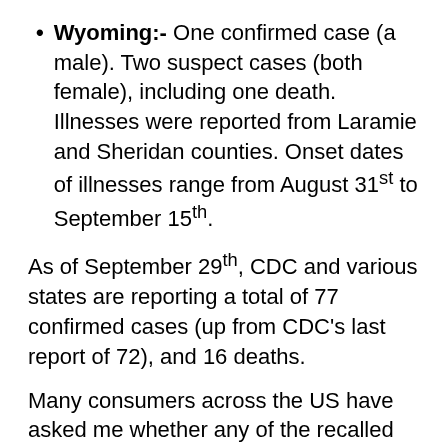Wyoming:- One confirmed case (a male). Two suspect cases (both female), including one death. Illnesses were reported from Laramie and Sheridan counties. Onset dates of illnesses range from August 31st to September 15th.
As of September 29th, CDC and various states are reporting a total of 77 confirmed cases (up from CDC's last report of 72), and 16 deaths.
Many consumers across the US have asked me whether any of the recalled cantaloupes were shipped to their state or carried by their local supermarket. FDA reports that the recalled cantaloupes were distributed to the following 25 states: Arizona, Arkansas, California, Colorado, Idaho, Illinois, Kansas, Minnesota, Missouri, Montana, Nebraska, New Jersey, New Mexico, New